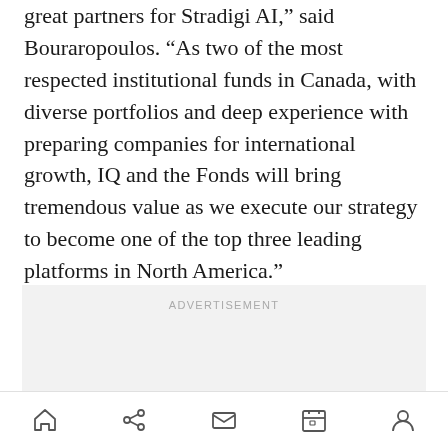great partners for Stradigi AI," said Bouraropoulos. "As two of the most respected institutional funds in Canada, with diverse portfolios and deep experience with preparing companies for international growth, IQ and the Fonds will bring tremendous value as we execute our strategy to become one of the top three leading platforms in North America."
[Figure (other): Advertisement placeholder box with the label ADVERTISEMENT in light gray uppercase text on a light gray background]
Navigation bar with home, share, mail, calendar, and profile icons